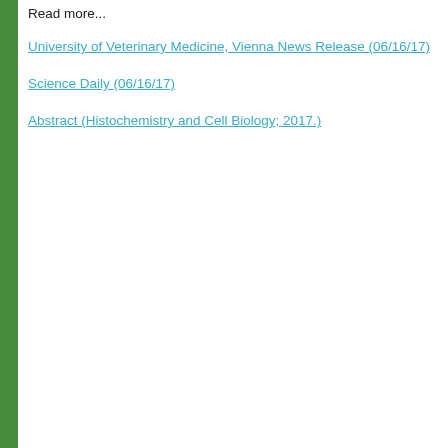Read more...
University of Veterinary Medicine, Vienna News Release (06/16/17)
Science Daily (06/16/17)
Abstract (Histochemistry and Cell Biology; 2017.)